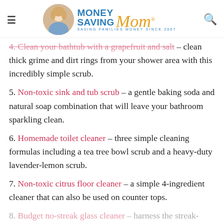Money Saving Mom® – Saving Families Money Since 2007
4. Clean your bathtub with a grapefruit and salt – clean thick grime and dirt rings from your shower area with this incredibly simple scrub.
5. Non-toxic sink and tub scrub – a gentle baking soda and natural soap combination that will leave your bathroom sparkling clean.
6. Homemade toilet cleaner – three simple cleaning formulas including a tea tree bowl scrub and a heavy-duty lavender-lemon scrub.
7. Non-toxic citrus floor cleaner – a simple 4-ingredient cleaner that can also be used on counter tops.
8. Budget no-streak glass cleaner – harness the streak-